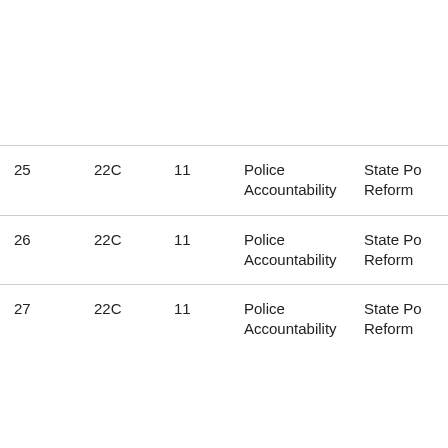| 25 | 22C | 11 | Police Accountability | State Po Reform |
| 26 | 22C | 11 | Police Accountability | State Po Reform |
| 27 | 22C | 11 | Police Accountability | State Po Reform |